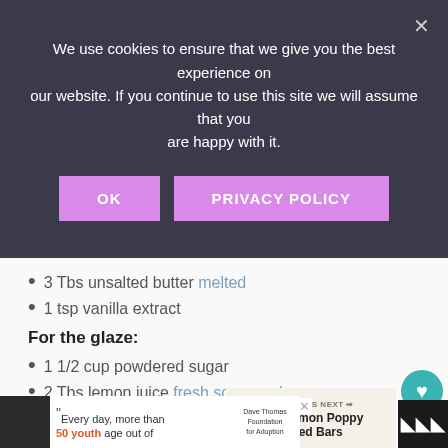We use cookies to ensure that we give you the best experience on our website. If you continue to use this site we will assume that you are happy with it.
3 Tbs unsalted butter melted
1 tsp vanilla extract
For the glaze:
1 1/2 cup powdered sugar
2 Tbs lemon juice fresh squeezed
1/2 tsp vanilla extract
[Figure (screenshot): What's Next promo: Lemon Poppy Seed Bars with thumbnail image]
[Figure (screenshot): Advertisement banner: Every day, more than 50 youth age out of foster care - Dave Thomas Foundation for Adoption]